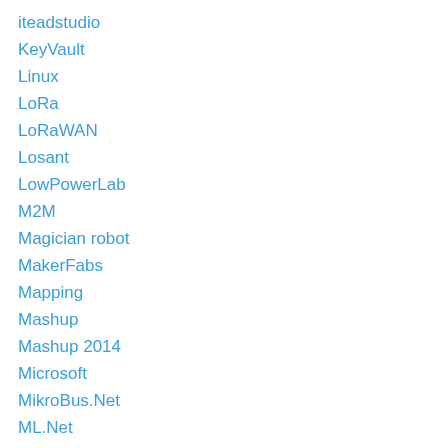iteadstudio
KeyVault
Linux
LoRa
LoRaWAN
Losant
LowPowerLab
M2M
Magician robot
MakerFabs
Mapping
Mashup
Mashup 2014
Microsoft
MikroBus.Net
ML.Net
mqtt
MSIgnite
MSIgnite2015
MSIgnite2017AU